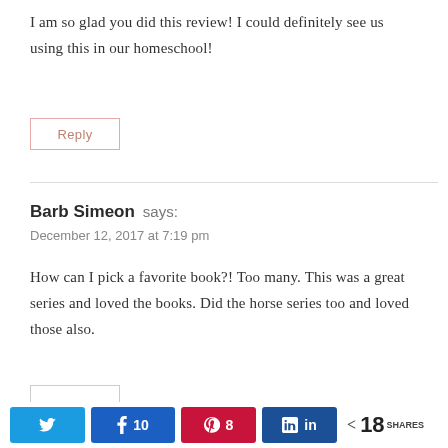I am so glad you did this review! I could definitely see us using this in our homeschool!
Reply
Barb Simeon says:
December 12, 2017 at 7:19 pm
How can I pick a favorite book?! Too many. This was a great series and loved the books. Did the horse series too and loved those also.
Reply
18 SHARES (Twitter, Facebook 10, Pinterest 8, LinkedIn, share)